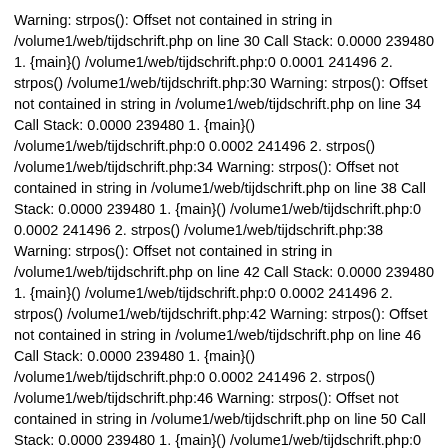Warning: strpos(): Offset not contained in string in /volume1/web/tijdschrift.php on line 30 Call Stack: 0.0000 239480 1. {main}() /volume1/web/tijdschrift.php:0 0.0001 241496 2. strpos() /volume1/web/tijdschrift.php:30 Warning: strpos(): Offset not contained in string in /volume1/web/tijdschrift.php on line 34 Call Stack: 0.0000 239480 1. {main}() /volume1/web/tijdschrift.php:0 0.0002 241496 2. strpos() /volume1/web/tijdschrift.php:34 Warning: strpos(): Offset not contained in string in /volume1/web/tijdschrift.php on line 38 Call Stack: 0.0000 239480 1. {main}() /volume1/web/tijdschrift.php:0 0.0002 241496 2. strpos() /volume1/web/tijdschrift.php:38 Warning: strpos(): Offset not contained in string in /volume1/web/tijdschrift.php on line 42 Call Stack: 0.0000 239480 1. {main}() /volume1/web/tijdschrift.php:0 0.0002 241496 2. strpos() /volume1/web/tijdschrift.php:42 Warning: strpos(): Offset not contained in string in /volume1/web/tijdschrift.php on line 46 Call Stack: 0.0000 239480 1. {main}() /volume1/web/tijdschrift.php:0 0.0002 241496 2. strpos() /volume1/web/tijdschrift.php:46 Warning: strpos(): Offset not contained in string in /volume1/web/tijdschrift.php on line 50 Call Stack: 0.0000 239480 1. {main}() /volume1/web/tijdschrift.php:0 0.0003 241632 2. strpos() /volume1/web/tijdschrift.php:50 Warning: strpos(): Offset not contained in string in /volume1/web/tijdschrift.php on line 54 Call Stack: 0.0000 239480 1. {main}() /volume1/web/tijdschrift.php:0 0.0003 241632 2.